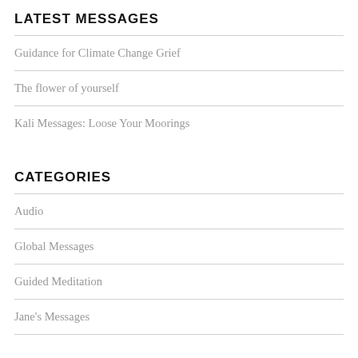LATEST MESSAGES
Guidance for Climate Change Grief
The flower of yourself
Kali Messages: Loose Your Moorings
CATEGORIES
Audio
Global Messages
Guided Meditation
Jane's Messages